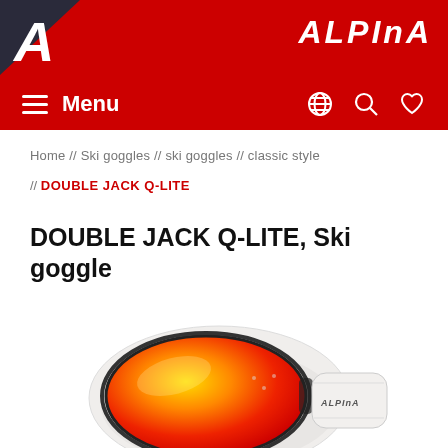ALPINA — Menu navigation header with logo
Home // Ski goggles // ski goggles // classic style // DOUBLE JACK Q-LITE
DOUBLE JACK Q-LITE, Ski goggle
[Figure (photo): Alpina Double Jack Q-Lite ski goggle in white frame with orange-red mirrored lens, shown at an angle with ALPINA branded strap visible on the right side.]